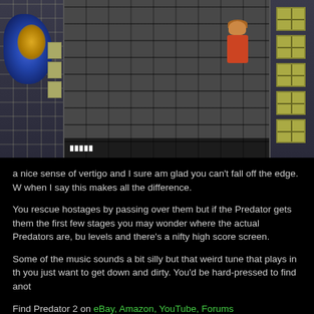[Figure (screenshot): Video game screenshot showing a side-scrolling action game with a character on a stone brick background, flanked by two vertical panels with windows and blue/gold decorations on the left panel. A status bar is visible at the bottom of the game screen.]
a nice sense of vertigo and I sure am glad you can't fall off the edge. W when I say this makes all the difference.
You rescue hostages by passing over them but if the Predator gets them the first few stages you may wonder where the actual Predators are, bu levels and there's a nifty high score screen.
Some of the music sounds a bit silly but that weird tune that plays in th you just want to get down and dirty. You'd be hard-pressed to find anot
Find Predator 2 on eBay, Amazon, YouTube, Forums
Copy link to this review